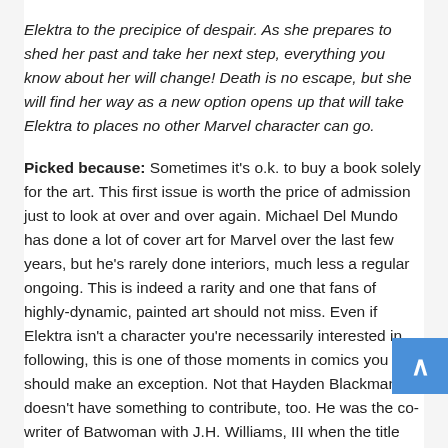Elektra to the precipice of despair. As she prepares to shed her past and take her next step, everything you know about her will change! Death is no escape, but she will find her way as a new option opens up that will take Elektra to places no other Marvel character can go.
Picked because: Sometimes it's o.k. to buy a book solely for the art. This first issue is worth the price of admission just to look at over and over again. Michael Del Mundo has done a lot of cover art for Marvel over the last few years, but he's rarely done interiors, much less a regular ongoing. This is indeed a rarity and one that fans of highly-dynamic, painted art should not miss. Even if Elektra isn't a character you're necessarily interested in following, this is one of those moments in comics you should make an exception. Not that Hayden Blackman doesn't have something to contribute, too. He was the co-writer of Batwoman with J.H. Williams, III when the title